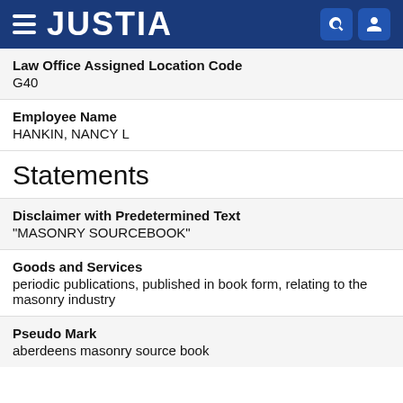JUSTIA
Law Office Assigned Location Code
G40
Employee Name
HANKIN, NANCY L
Statements
Disclaimer with Predetermined Text
"MASONRY SOURCEBOOK"
Goods and Services
periodic publications, published in book form, relating to the masonry industry
Pseudo Mark
aberdeens masonry source book